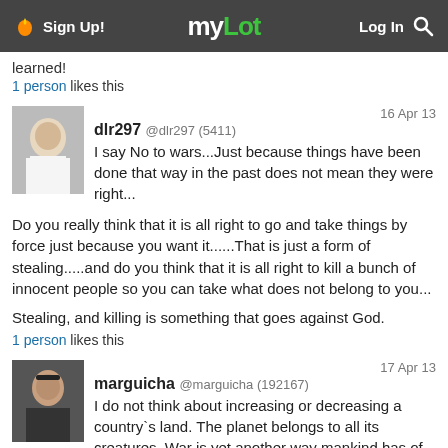Sign Up! | myLot | Log In
learned!
1 person likes this
dlr297 @dlr297 (5411) — 16 Apr 13
I say No to wars...Just because things have been done that way in the past does not mean they were right...
Do you really think that it is all right to go and take things by force just because you want it......That is just a form of stealing.....and do you think that it is all right to kill a bunch of innocent people so you can take what does not belong to you...
Stealing, and killing is something that goes against God.
1 person likes this
marguicha @marguicha (192167) — 17 Apr 13
I do not think about increasing or decreasing a country`s land. The planet belongs to all its creatures. War is yet another way mankind has of being the